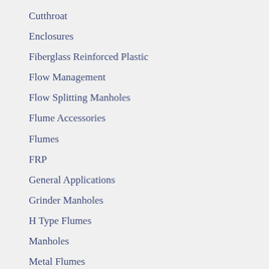Cutthroat
Enclosures
Fiberglass Reinforced Plastic
Flow Management
Flow Splitting Manholes
Flume Accessories
Flumes
FRP
General Applications
Grinder Manholes
H Type Flumes
Manholes
Metal Flumes
Montana